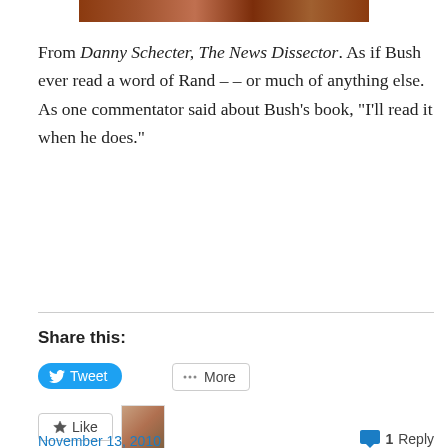[Figure (photo): Partial top strip of a book cover image, brown/reddish tones]
From Danny Schecter, The News Dissector. As if Bush ever read a word of Rand – – or much of anything else. As one commentator said about Bush's book, “I’ll read it when he does.”
Share this:
Tweet
More
Like
One blogger likes this.
November 13, 2010
1 Reply
Scrapbook Entr…